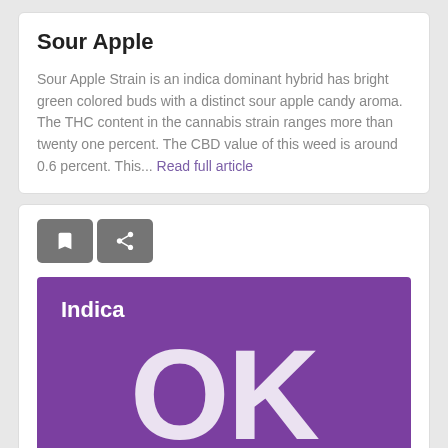Sour Apple
Sour Apple Strain is an indica dominant hybrid has bright green colored buds with a distinct sour apple candy aroma. The THC content in the cannabis strain ranges more than twenty one percent. The CBD value of this weed is around 0.6 percent. This... Read full article
[Figure (screenshot): Icon bar with bookmark and share icons on grey buttons]
[Figure (infographic): Purple banner showing 'Indica' label and large 'OK' text in white on purple background]